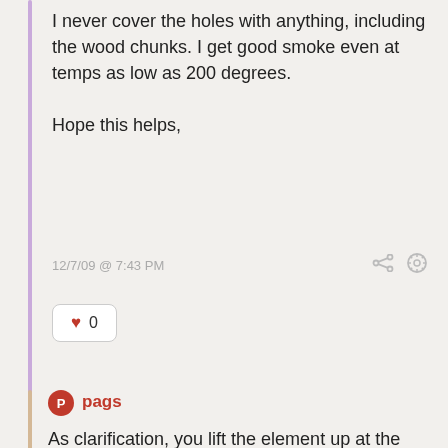I never cover the holes with anything, including the wood chunks. I get good smoke even at temps as low as 200 degrees.

Hope this helps,
12/7/09  @  7:43 PM
♥ 0
pags
As clarification, you lift the element up at the curved end not literally bending the element. The wood burns better towards the front of the box cause that's where the element is now closest to the box and where the element bends producing more heat/sq. inch.